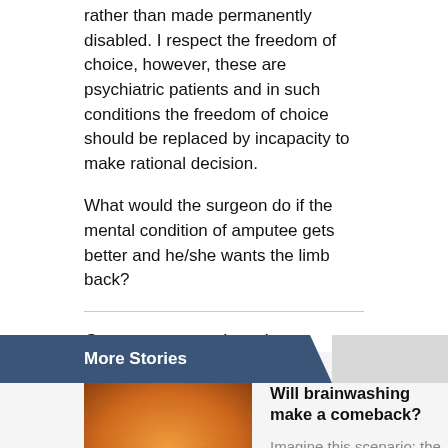rather than made permanently disabled. I respect the freedom of choice, however, these are psychiatric patients and in such conditions the freedom of choice should be replaced by incapacity to make rational decision.
What would the surgeon do if the mental condition of amputee gets better and he/she wants the limb back?
Comments are closed.
More Stories
[Figure (photo): Close-up photo of hands holding a stringed instrument against an orange/warm background]
Will brainwashing make a comeback?
Imagine this scenario: the American military captures a fanatical soldier of the Islami...